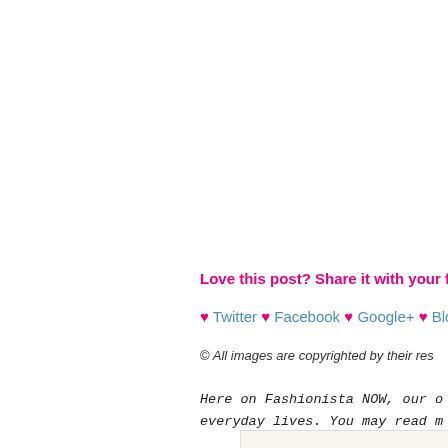Love this post? Share it with your frie...
♥ Twitter ♥ Facebook ♥ Google+ ♥ Bloglo...
© All images are copyrighted by their res...
Here on Fashionista NOW, our o...
everyday lives. You may read m...
Reverie Sanctuary